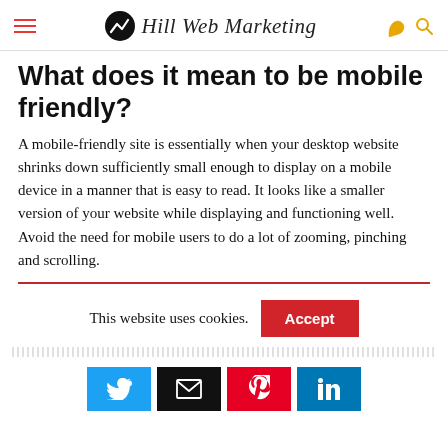Hill Web Marketing
What does it mean to be mobile friendly?
A mobile-friendly site is essentially when your desktop website shrinks down sufficiently small enough to display on a mobile device in a manner that is easy to read. It looks like a smaller version of your website while displaying and functioning well. Avoid the need for mobile users to do a lot of zooming, pinching and scrolling.
This website uses cookies.
[Figure (screenshot): Cookie consent bar with Accept button and social sharing icons (Twitter, Email, Pinterest, LinkedIn)]